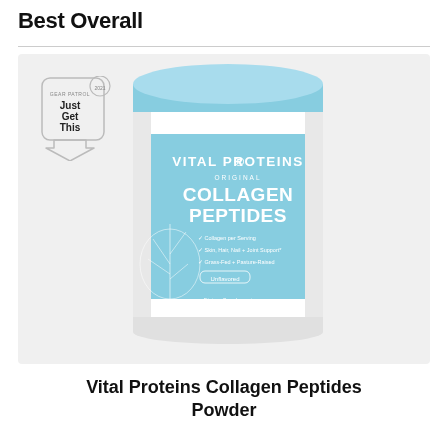Best Overall
[Figure (photo): A white and light blue container of Vital Proteins Original Collagen Peptides Powder, unflavored, dietary supplement, net wt. 20 oz (1.25 lb / 567g), with a Gear Patrol 'Just Get This 2021' award badge in the upper left corner.]
Vital Proteins Collagen Peptides Powder